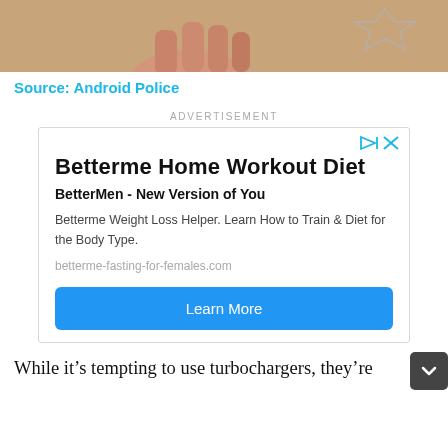[Figure (photo): Cropped photo showing a hand holding something, with a star/logo watermark in the upper right corner. Warm tan/wood background.]
Source: Android Police
ADVERTISEMENT
[Figure (screenshot): Advertisement box for Betterme Home Workout Diet. Contains title 'Betterme Home Workout Diet', subtitle 'BetterMen - New Version of You', description 'Betterme Weight Loss Helper. Learn How to Train & Diet for the Body Type.', URL 'betterme-fasting-for-females.com', and a blue 'Learn More' button.]
While it's tempting to use turbochargers, they're